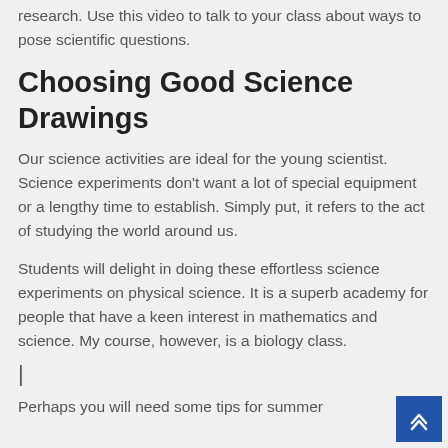research. Use this video to talk to your class about ways to pose scientific questions.
Choosing Good Science Drawings
Our science activities are ideal for the young scientist. Science experiments don't want a lot of special equipment or a lengthy time to establish. Simply put, it refers to the act of studying the world around us.
Students will delight in doing these effortless science experiments on physical science. It is a superb academy for people that have a keen interest in mathematics and science. My course, however, is a biology class.
|
Perhaps you will need some tips for summer